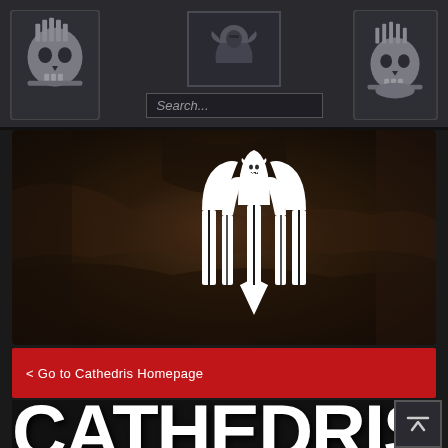[Figure (screenshot): Navigation bar with skull icons on left and right, center emblem, and search box]
[Figure (photo): Dark fantasy hero image with a white gothic cathedral/window logo centered over a dark textured background with brown/dark tones]
< Go to Cathedris Homepage
CATHEDRIS